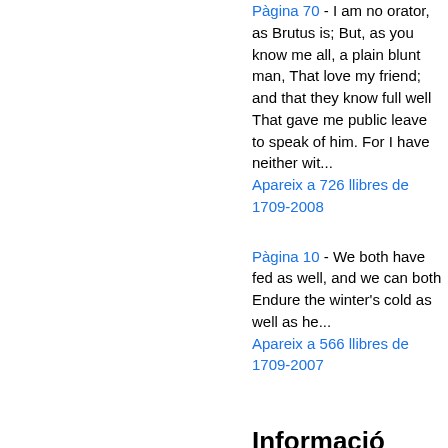Pàgina 70 - I am no orator, as Brutus is; But, as you know me all, a plain blunt man, That love my friend; and that they know full well That gave me public leave to speak of him. For I have neither wit...
Apareix a 726 llibres de 1709-2008
Pàgina 10 - We both have fed as well, and we can both Endure the winter's cold as well as he...
Apareix a 566 llibres de 1709-2007
Informació bibliogràfica